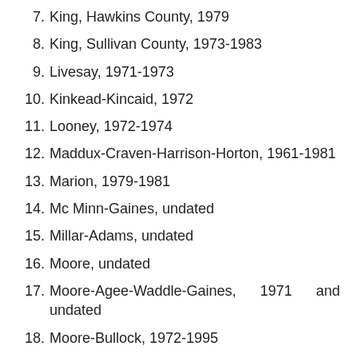7. King, Hawkins County, 1979
8. King, Sullivan County, 1973-1983
9. Livesay, 1971-1973
10. Kinkead-Kincaid, 1972
11. Looney, 1972-1974
12. Maddux-Craven-Harrison-Horton, 1961-1981
13. Marion, 1979-1981
14. Mc Minn-Gaines, undated
15. Millar-Adams, undated
16. Moore, undated
17. Moore-Agee-Waddle-Gaines, 1971 and undated
18. Moore-Bullock, 1972-1995